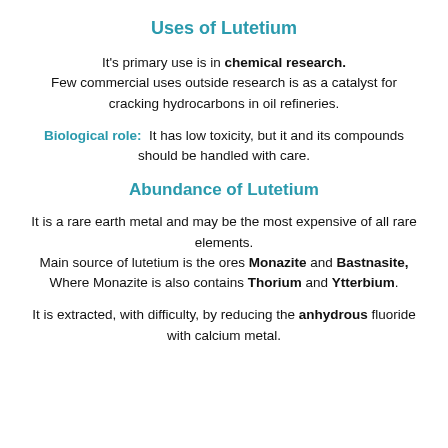Uses of Lutetium
It's primary use is in chemical research. Few commercial uses outside research is as a catalyst for cracking hydrocarbons in oil refineries.
Biological role: It has low toxicity, but it and its compounds should be handled with care.
Abundance of Lutetium
It is a rare earth metal and may be the most expensive of all rare elements. Main source of lutetium is the ores Monazite and Bastnasite, Where Monazite is also contains Thorium and Ytterbium.
It is extracted, with difficulty, by reducing the anhydrous fluoride with calcium metal.